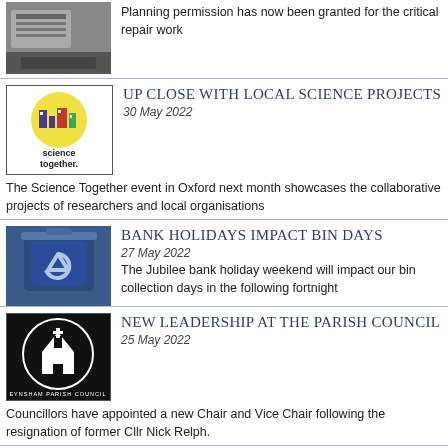[Figure (photo): Typewriter or machinery close-up photo]
Planning permission has now been granted for the critical repair work
[Figure (logo): Science Together logo - colourful building icon with text 'science together.']
Up close with local science projects
30 May 2022
The Science Together event in Oxford next month showcases the collaborative projects of researchers and local organisations
[Figure (photo): Blue recycling bin with recycling symbol]
Bank holidays impact bin days
27 May 2022
The Jubilee bank holiday weekend will impact our bin collection days in the following fortnight
[Figure (logo): Eynsham Parish Council logo - white building silhouette on black circle]
New leadership at the Parish Council
25 May 2022
Councillors have appointed a new Chair and Vice Chair following the resignation of former Cllr Nick Relph.
[Figure (photo): House exterior with bird visible]
Curious about the council?
24 May 2022
Join this free webinar to learn more about what's involved with being a local councillor.